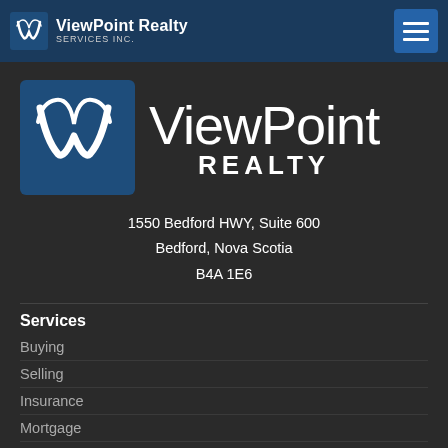ViewPoint Realty Services Inc.
[Figure (logo): ViewPoint Realty logo with stylized V icon on blue square background, with text ViewPoint REALTY]
1550 Bedford HWY, Suite 600
Bedford, Nova Scotia
B4A 1E6
Services
Buying
Selling
Insurance
Mortgage
Advertising